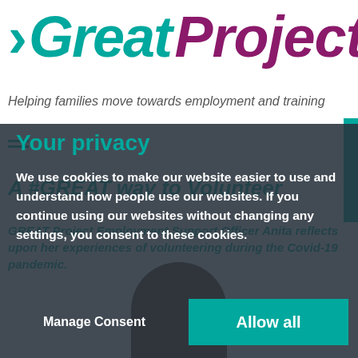[Figure (logo): GREAT Project logo with teal 'GREAT' text and purple 'Project' text, with a forward arrow motif]
Helping families move towards employment and training
A #GREAT way to Volunteer
GREAT Project Employment Support Officer Anita reflects upon her experiences of volunteering during the Covid-19 pandemic.
[Figure (photo): Head and shoulders of a person, partially visible at the bottom of the page]
Your privacy
We use cookies to make our website easier to use and understand how people use our websites. If you continue using our websites without changing any settings, you consent to these cookies.
Manage Consent
Allow all